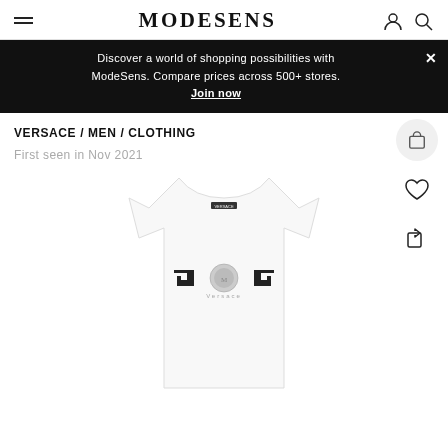MODESENS
Discover a world of shopping possibilities with ModeSens. Compare prices across 500+ stores. Join now
VERSACE / MEN / CLOTHING
First seen in Nov 2021
[Figure (photo): White Versace t-shirt with Medusa head logo and Greek key pattern printed on the chest area, photographed on a plain white background.]